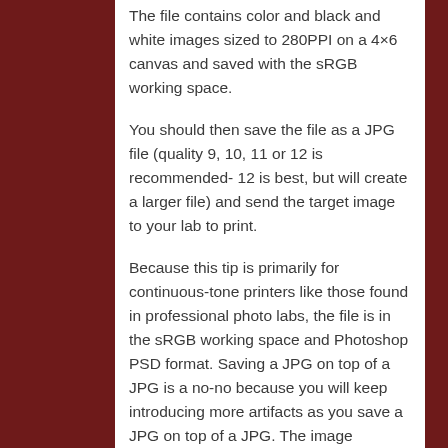The file contains color and black and white images sized to 280PPI on a 4×6 canvas and saved with the sRGB working space.
You should then save the file as a JPG file (quality 9, 10, 11 or 12 is recommended- 12 is best, but will create a larger file) and send the target image to your lab to print.
Because this tip is primarily for continuous-tone printers like those found in professional photo labs, the file is in the sRGB working space and Photoshop PSD format. Saving a JPG on top of a JPG is a no-no because you will keep introducing more artifacts as you save a JPG on top of a JPG. The image includes some text,